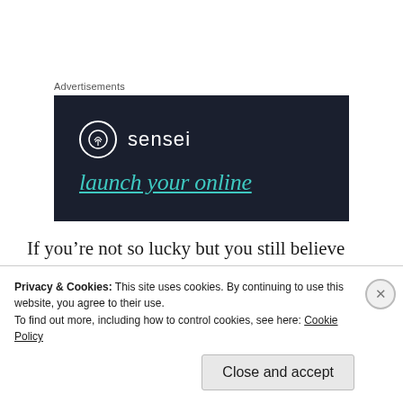Advertisements
[Figure (other): Sensei advertisement banner: dark navy background with Sensei logo (tree icon in circle) and brand name 'sensei' in white, with teal italic tagline text partially visible at bottom reading 'launch your online...']
If you’re not so lucky but you still believe your book is worth reading, there are a lot of great options that there weren’t just a few years ago.
Publishing Borrowed Magic myself is the route I chose
Privacy & Cookies: This site uses cookies. By continuing to use this website, you agree to their use.
To find out more, including how to control cookies, see here: Cookie Policy
Close and accept